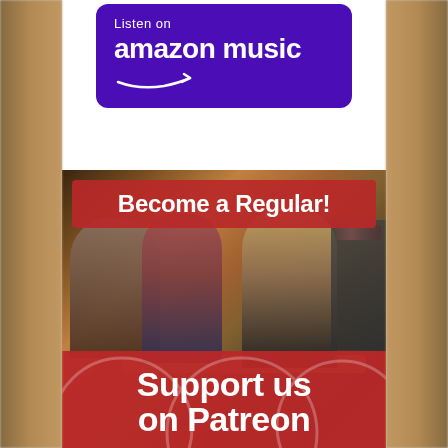[Figure (logo): Amazon Music badge with purple background, 'Listen on' text above large 'amazon music' text with arrow/smile logo]
[Figure (photo): Bar scene photo with overlay text. Shows people socializing at a bar counter. Red banner overlay at top reads 'Become a Regular!' and red banner at bottom reads 'Support us on Patreon']